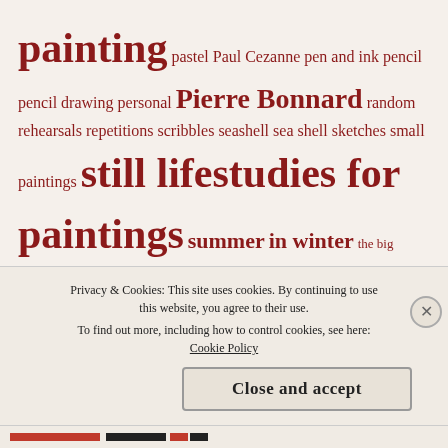[Figure (infographic): Tag cloud with words related to art and painting in dark red/crimson color on a beige background. Words vary in size indicating frequency/importance. Words include: painting, pastel, Paul Cezanne, pen and ink, pencil, pencil drawing, personal, Pierre Bonnard, random, rehearsals, repetitions, scribbles, seashell, sea shell, sketches, small paintings, still life, studies for paintings, summer, in winter, the big painting, thoughts, time management for artists, unsystematic catalog, Washington DC, watercolor, work in progress.]
Privacy & Cookies: This site uses cookies. By continuing to use this website, you agree to their use.
To find out more, including how to control cookies, see here: Cookie Policy